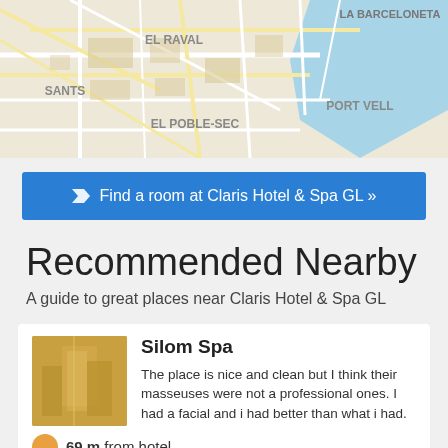[Figure (map): Street map of Barcelona showing neighborhoods: El Raval, La Barceloneta, Sants, Port Vell, El Poble-sec]
Find a room at Claris Hotel & Spa GL »
Recommended Nearby
A guide to great places near Claris Hotel & Spa GL
Silom Spa
The place is nice and clean but I think their masseuses were not a professional ones. I had a facial and i had better than what i had.
69 m from hotel